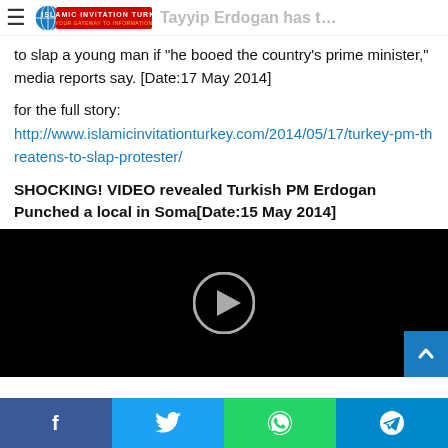Islamic Invitation Turkey — Tayyip Erdogan has threatened
to slap a young man if "he booed the country's prime minister," media reports say. [Date:17 May 2014]
for the full story:
http://www.islamicinvitationturkey.com/2014/05/17/turkey-pm-threatens-to-slap-protester/
SHOCKING! VIDEO revealed Turkish PM Erdogan Punched a local in Soma[Date:15 May 2014]
[Figure (screenshot): Embedded video player with black background and a circular play button in the center]
Social sharing bar: Facebook, Twitter, WhatsApp, Telegram